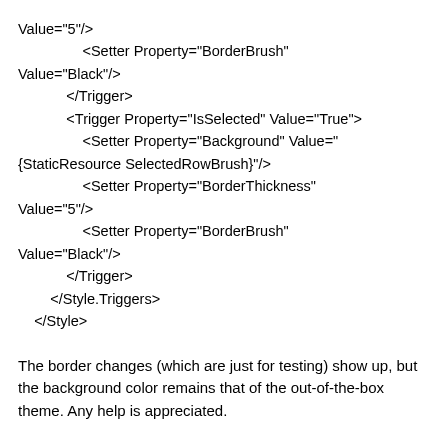Value="5"/>
                <Setter Property="BorderBrush"
Value="Black"/>
            </Trigger>
            <Trigger Property="IsSelected" Value="True">
                <Setter Property="Background" Value="{StaticResource SelectedRowBrush}"/>
                <Setter Property="BorderThickness"
Value="5"/>
                <Setter Property="BorderBrush"
Value="Black"/>
            </Trigger>
        </Style.Triggers>
    </Style>
The border changes (which are just for testing) show up, but the background color remains that of the out-of-the-box theme. Any help is appreciated.